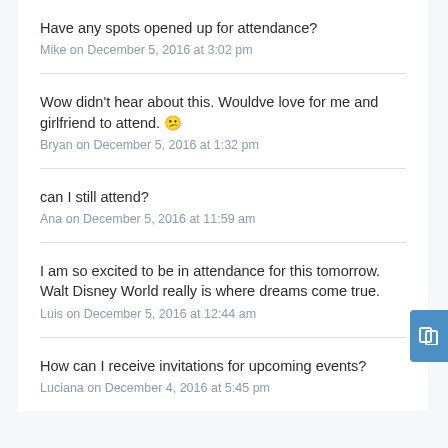Have any spots opened up for attendance?
Mike on December 5, 2016 at 3:02 pm
Wow didn't hear about this. Wouldve love for me and girlfriend to attend. 🙁
Bryan on December 5, 2016 at 1:32 pm
can I still attend?
Ana on December 5, 2016 at 11:59 am
I am so excited to be in attendance for this tomorrow. Walt Disney World really is where dreams come true.
Luis on December 5, 2016 at 12:44 am
How can I receive invitations for upcoming events?
Luciana on December 4, 2016 at 5:45 pm